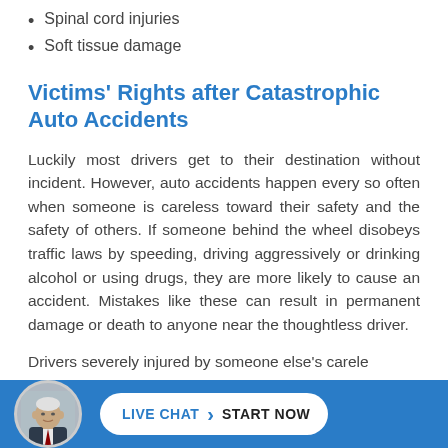Spinal cord injuries
Soft tissue damage
Victims' Rights after Catastrophic Auto Accidents
Luckily most drivers get to their destination without incident. However, auto accidents happen every so often when someone is careless toward their safety and the safety of others. If someone behind the wheel disobeys traffic laws by speeding, driving aggressively or drinking alcohol or using drugs, they are more likely to cause an accident. Mistakes like these can result in permanent damage or death to anyone near the thoughtless driver.
Drivers severely injured by someone else's carele...
[Figure (photo): Headshot of a man in a suit, displayed in a circular avatar in the live chat footer bar]